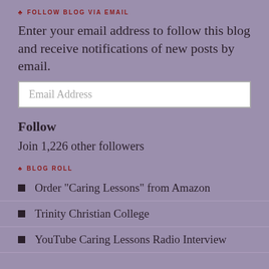FOLLOW BLOG VIA EMAIL
Enter your email address to follow this blog and receive notifications of new posts by email.
Email Address
Follow
Join 1,226 other followers
BLOG ROLL
Order "Caring Lessons" from Amazon
Trinity Christian College
YouTube Caring Lessons Radio Interview